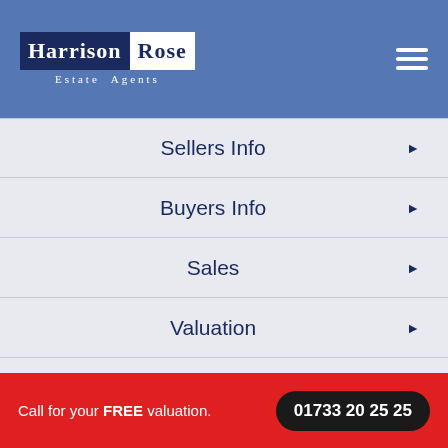Harrison Rose Estate Agents
Sellers Info
Buyers Info
Sales
Valuation
Members Of
Call for your FREE valuation.  01733 20 25 25